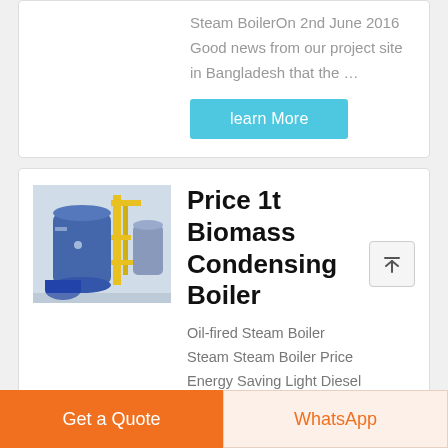Steam BoilerOn 2nd June 2016 Good news from our project site in Bangladesh that the …
learn More
[Figure (photo): Industrial blue steam boiler equipment in a factory setting with yellow piping and structures]
Price 1t Biomass Condensing Boiler
Oil-fired Steam Boiler Steam Steam Boiler Price Energy Saving Light Diesel Fired Steam Boiler. US $2470-$7590 8t/h Factory price hot
Get a Quote
WhatsApp